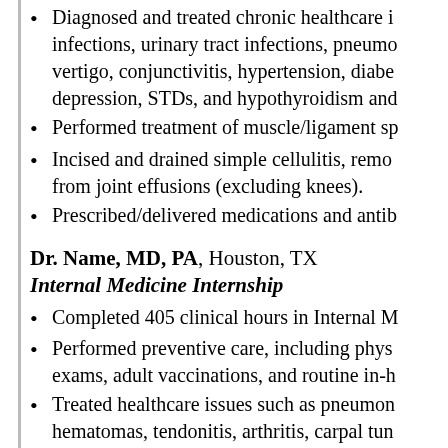Diagnosed and treated chronic healthcare infections, urinary tract infections, pneumo, vertigo, conjunctivitis, hypertension, diabe, depression, STDs, and hypothyroidism and
Performed treatment of muscle/ligament sp
Incised and drained simple cellulitis, remo from joint effusions (excluding knees).
Prescribed/delivered medications and antib
Dr. Name, MD, PA, Houston, TX
Internal Medicine Internship
Completed 405 clinical hours in Internal M
Performed preventive care, including phys exams, adult vaccinations, and routine in-h
Treated healthcare issues such as pneumon hematomas, tendonitis, arthritis, carpal tun psoriasis, pityriasis rosea, onychomycosis,
Provided diagnosis and treatment of diabe
Diagnosed and treated clinical conditions...